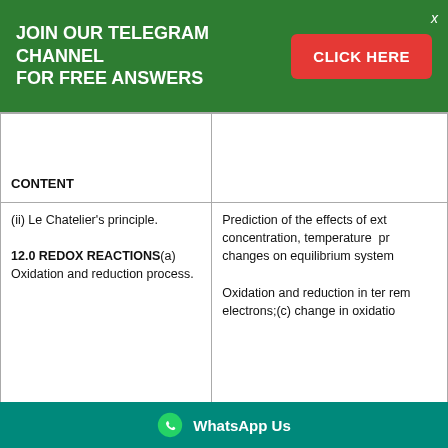[Figure (infographic): Green banner with text 'JOIN OUR TELEGRAM CHANNEL FOR FREE ANSWERS' and a red CLICK HERE button and an X close icon]
| CONTENT |  |
| --- | --- |
| (ii) Le Chatelier's principle.

12.0 REDOX REACTIONS(a)
Oxidation and reduction process. | Prediction of the effects of ext concentration, temperature  pr changes on equilibrium system

Oxidation and reduction in ter rem electrons;(c) change in oxidatio |
[Figure (infographic): Teal WhatsApp Us bar at the bottom with WhatsApp logo icon]